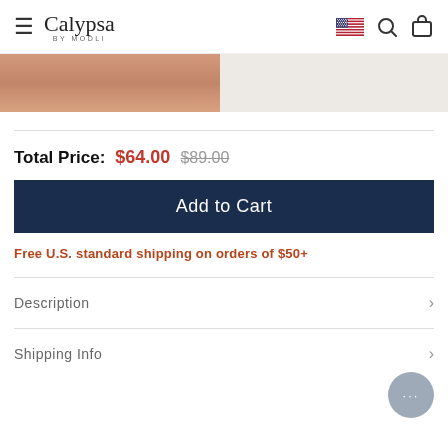Calypsa BY MODLI
[Figure (photo): Partial product image showing legs/lower body of swimwear model against light grey background]
Total Price: $64.00 $89.00
Add to Cart
Free U.S. standard shipping on orders of $50+
Description >
Shipping Info >